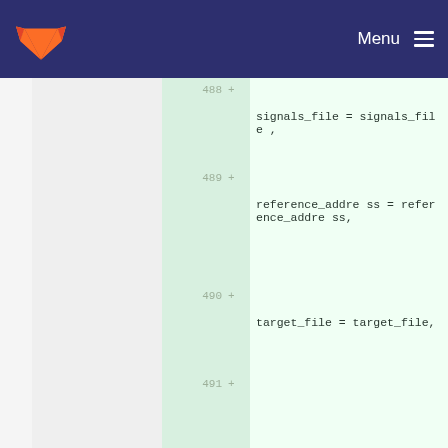Menu
488 +
signals_file = signals_file ,
489 +
reference_address = reference_address,
490 +
target_file = target_file,
491 +